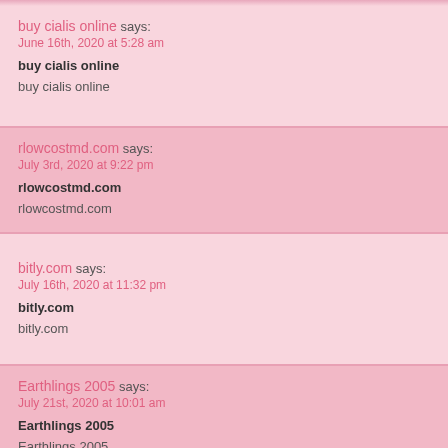buy cialis online says:
June 16th, 2020 at 5:28 am
buy cialis online
buy cialis online
rlowcostmd.com says:
July 3rd, 2020 at 9:22 pm
rlowcostmd.com
rlowcostmd.com
bitly.com says:
July 16th, 2020 at 11:32 pm
bitly.com
bitly.com
Earthlings 2005 says:
July 21st, 2020 at 10:01 am
Earthlings 2005
Earthlings 2005